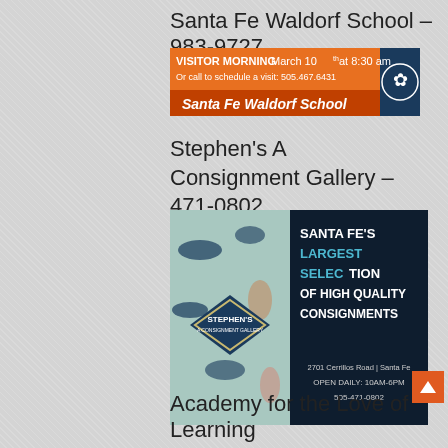Santa Fe Waldorf School – 983-9727
[Figure (advertisement): Santa Fe Waldorf School banner ad: orange and white, VISITOR MORNING March 10th at 8:30 am, Or call to schedule a visit: 505.467.6431, Santa Fe Waldorf School, with decorative snowflake logo]
Stephen's A Consignment Gallery – 471-0802
[Figure (advertisement): Stephen's A Consignment Gallery ad: dark navy blue background on right with text SANTA FE'S LARGEST SELECTION OF HIGH QUALITY CONSIGNMENTS, 2701 Cerrillos Road | Santa Fe, OPEN DAILY: 10AM-6PM, 505-471-0802. Left side shows decorative floral/swirl pattern with diamond logo saying STEPHEN'S A CONSIGNMENT GALLERY]
Academy for the Love of Learning